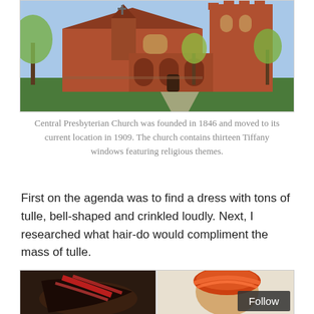[Figure (photo): Exterior photograph of Central Presbyterian Church, a red brick Gothic Revival church building with a large tower on the right, arched colonnades at the entrance, and trees in the foreground. Blue sky in background.]
Central Presbyterian Church was founded in 1846 and moved to its current location in 1909. The church contains thirteen Tiffany windows featuring religious themes.
First on the agenda was to find a dress with tons of tulle, bell-shaped and crinkled loudly. Next, I researched what hair-do would compliment the mass of tulle.
[Figure (photo): Two side-by-side photos of people with colorful hair accessories or hairstyles featuring red and orange streaks.]
Follow